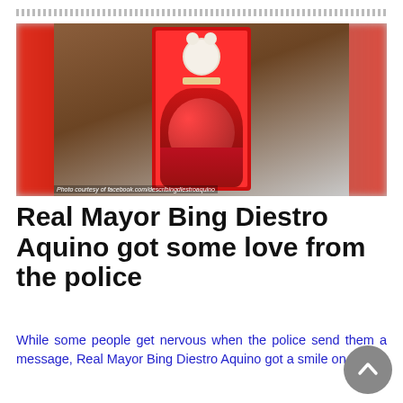[Figure (photo): A gift box with red roses and a white teddy bear inside a red rectangular box. Blurred red background on both sides.]
Photo courtesy of facebook.com/describingdiestroaquino
Real Mayor Bing Diestro Aquino got some love from the police
While some people get nervous when the police send them a message, Real Mayor Bing Diestro Aquino got a smile on her